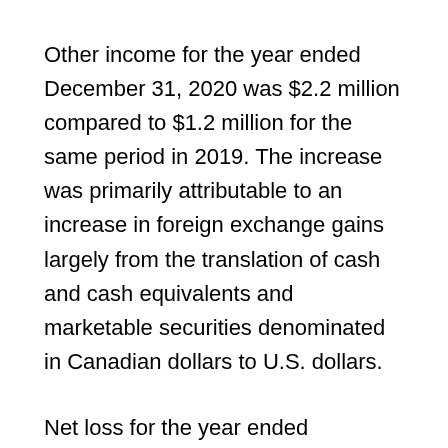Other income for the year ended December 31, 2020 was $2.2 million compared to $1.2 million for the same period in 2019. The increase was primarily attributable to an increase in foreign exchange gains largely from the translation of cash and cash equivalents and marketable securities denominated in Canadian dollars to U.S. dollars.
Net loss for the year ended December 31, 2020 was $28.8 million, compared to $41.6 million for the same period in 2019. The change was primarily attributable to revenue recognized in the year pursuant to the license and collaboration agreement with Neurocrine Biosciences, partially offset by higher research and